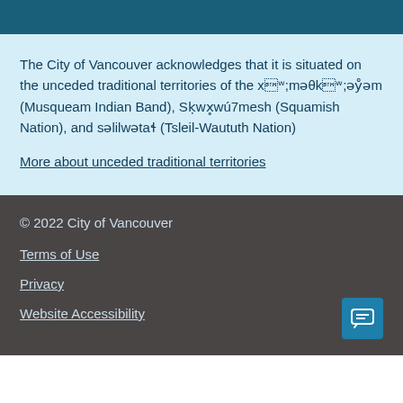The City of Vancouver acknowledges that it is situated on the unceded traditional territories of the xʷməθkʷəy̓əm (Musqueam Indian Band), Sḵwx̱wú7mesh (Squamish Nation), and səlilwətaɬ (Tsleil-Waututh Nation)
More about unceded traditional territories
© 2022 City of Vancouver
Terms of Use
Privacy
Website Accessibility